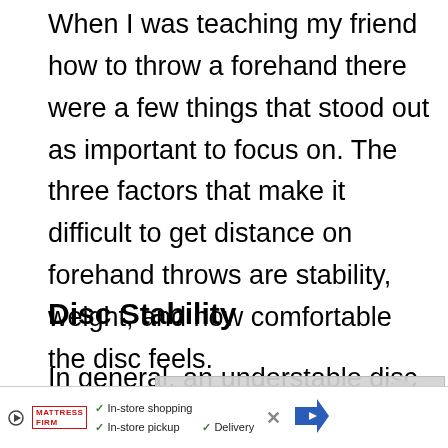When I was teaching my friend how to throw a forehand there were a few things that stood out as important to focus on. The three factors that make it difficult to get distance on forehand throws are stability, weight, and how comfortable the disc feels.
Disc Stability
In general, an understable disc will be more difficult to throw flat and far than an
[Figure (other): Video player overlay showing 'No compatible source was found for this media.' with a close button, overlapping the text below.]
[Figure (other): Advertisement banner for Mattress Firm showing in-store shopping, in-store pickup, and delivery options with checkmarks, an X button, and a directional arrow sign.]